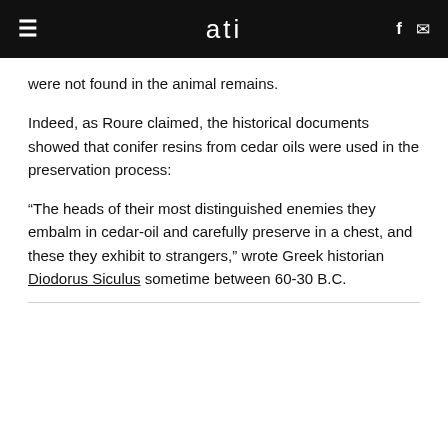≡  ati  f ✉
were not found in the animal remains.
Indeed, as Roure claimed, the historical documents showed that conifer resins from cedar oils were used in the preservation process:
“The heads of their most distinguished enemies they embalm in cedar-oil and carefully preserve in a chest, and these they exhibit to strangers,” wrote Greek historian Diodorus Siculus sometime between 60-30 B.C.